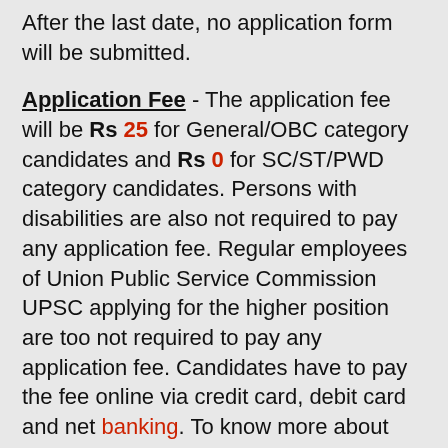After the last date, no application form will be submitted.
Application Fee - The application fee will be Rs 25 for General/OBC category candidates and Rs 0 for SC/ST/PWD category candidates. Persons with disabilities are also not required to pay any application fee. Regular employees of Union Public Service Commission UPSC applying for the higher position are too not required to pay any application fee. Candidates have to pay the fee online via credit card, debit card and net banking. To know more about application fee details for this recruitment, click on the detailed advertisement.
Important Note - Application forms received after due date will not be entertained under any circumstances. Incomplete or late applications without enclosures will summarily be rejected without any reasons and correspondence. Therefore